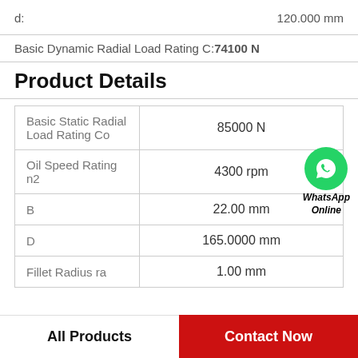d:    120.000 mm
Basic Dynamic Radial Load Rating C:74100 N
Product Details
|  |  |
| --- | --- |
| Basic Static Radial Load Rating Co | 85000 N |
| Oil Speed Rating n2 | 4300 rpm |
| B | 22.00 mm |
| D | 165.0000 mm |
| Fillet Radius ra | 1.00 mm |
[Figure (logo): WhatsApp Online badge with green phone icon]
All Products
Contact Now